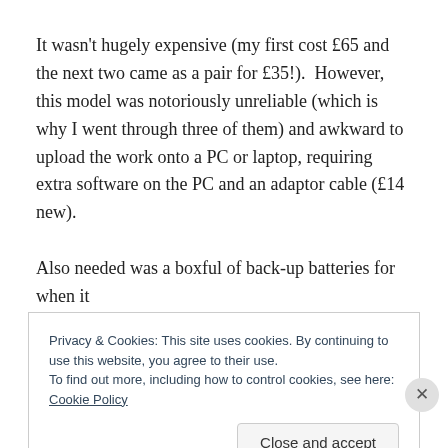It wasn't hugely expensive (my first cost £65 and the next two came as a pair for £35!).  However, this model was notoriously unreliable (which is why I went through three of them) and awkward to upload the work onto a PC or laptop, requiring extra software on the PC and an adaptor cable (£14 new).

Also needed was a boxful of back-up batteries for when it
Privacy & Cookies: This site uses cookies. By continuing to use this website, you agree to their use.
To find out more, including how to control cookies, see here: Cookie Policy